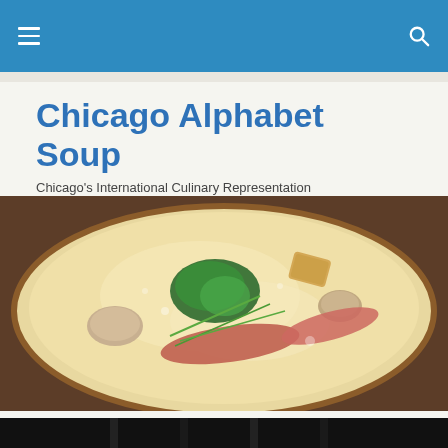Chicago Alphabet Soup — navigation bar
Chicago Alphabet Soup
Chicago's International Culinary Representation
[Figure (photo): Overhead close-up photo of a creamy soup bowl garnished with fresh herbs, mushrooms, red meat slices, and croutons on a dark background.]
See Gino, See Gino Eat, C Chicago
[Figure (photo): Partial dark image at bottom of page, black background with vertical shapes visible.]